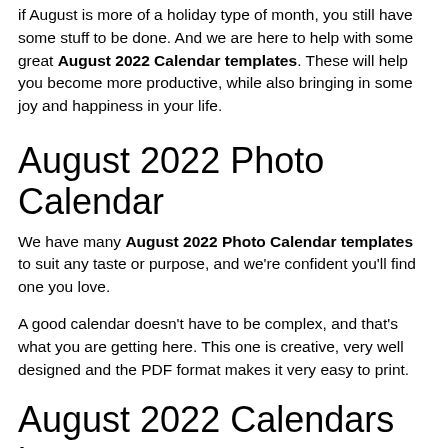if August is more of a holiday type of month, you still have some stuff to be done. And we are here to help with some great August 2022 Calendar templates. These will help you become more productive, while also bringing in some joy and happiness in your life.
August 2022 Photo Calendar
We have many August 2022 Photo Calendar templates to suit any taste or purpose, and we're confident you'll find one you love.
A good calendar doesn't have to be complex, and that's what you are getting here. This one is creative, very well designed and the PDF format makes it very easy to print.
August 2022 Calendars in Gorgeous Florals
Floral designs are always cute and fun to work on, and you